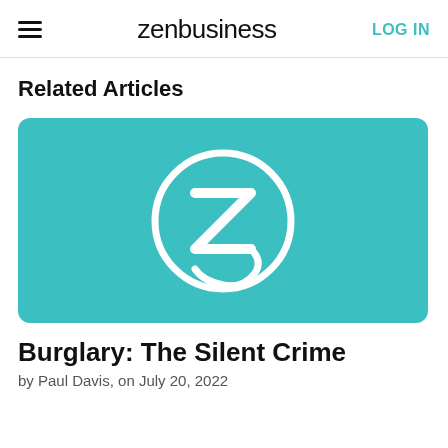zenbusiness | LOG IN
Related Articles
[Figure (logo): ZenBusiness logo — white circle outline with white Z letter inside, on teal/aqua background]
Burglary: The Silent Crime
by Paul Davis, on July 20, 2022